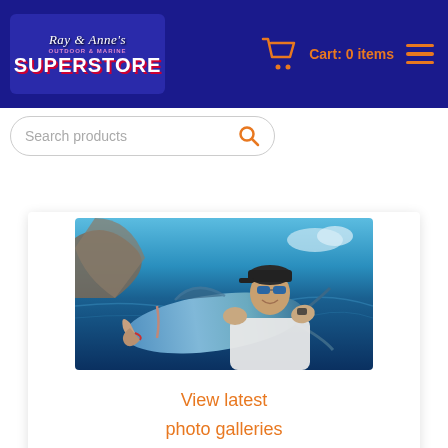Ray & Anne's Superstore — Cart: 0 items
Search products
[Figure (photo): Man in sunglasses and cap holding a large fish (wahoo/kingfish) in front of him on a boat, blue sky and water in background]
View latest photo galleries of fishing adventures